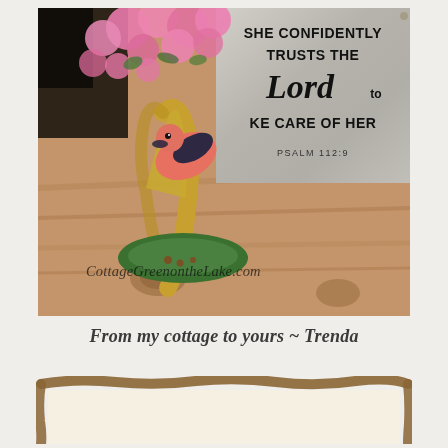[Figure (photo): Ceramic bird figurine vase with pink flowers, placed in front of a galvanized metal sign reading 'She Confidently Trusts The Lord To Take Care Of Her, Psalm 112:9'. Watermark reads CottageGreenontheLake.com]
From my cottage to yours ~ Trenda
[Figure (other): Partial view of a brown rustic frame/banner at the bottom of the page]